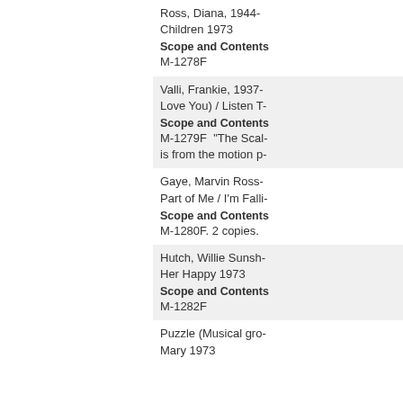Ross, Diana, 1944- Children 1973
Scope and Contents
M-1278F
Valli, Frankie, 1937- Love You) / Listen T-
Scope and Contents
M-1279F  "The Scal- is from the motion p-
Gaye, Marvin Ross- Part of Me / I'm Falli-
Scope and Contents
M-1280F. 2 copies.
Hutch, Willie Sunsh- Her Happy 1973
Scope and Contents
M-1282F
Puzzle (Musical gro- Mary 1973